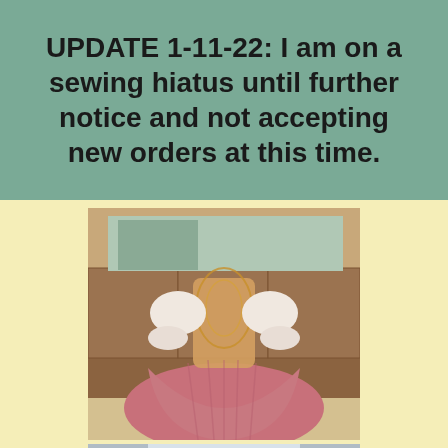UPDATE 1-11-22: I am on a sewing hiatus until further notice and not accepting new orders at this time.
[Figure (photo): Back view of a historical/renaissance-style gown with a pink/mauve full skirt and ornate gold embroidered bodice with white puffed sleeves, displayed in a domestic room setting]
[Figure (photo): A white/cream historical costume with gold embroidered neckline displayed on a dress form/mannequin in front of an ornate architectural backdrop]